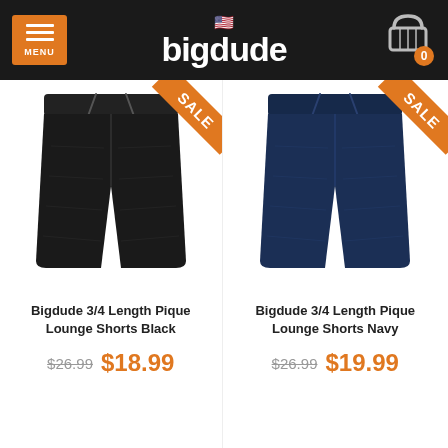bigdude
[Figure (photo): Black 3/4 length lounge shorts with drawstring waist, shown against white background. Orange SALE ribbon in top-right corner.]
Bigdude 3/4 Length Pique Lounge Shorts Black
$26.99  $18.99
[Figure (photo): Navy 3/4 length lounge shorts with drawstring waist, shown against white background. Orange SALE ribbon in top-right corner.]
Bigdude 3/4 Length Pique Lounge Shorts Navy
$26.99  $19.99